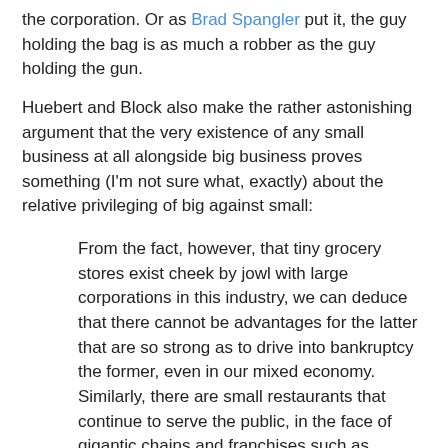the corporation. Or as Brad Spangler put it, the guy holding the bag is as much a robber as the guy holding the gun.
Huebert and Block also make the rather astonishing argument that the very existence of any small business at all alongside big business proves something (I'm not sure what, exactly) about the relative privileging of big against small:
From the fact, however, that tiny grocery stores exist cheek by jowl with large corporations in this industry, we can deduce that there cannot be advantages for the latter that are so strong as to drive into bankruptcy the former, even in our mixed economy. Similarly, there are small restaurants that continue to serve the public, in the face of gigantic chains and franchises such as McDonalds, Wendy's, Burger King, etc. Long gives us no compelling reasons why McDonald's would go away but local hamburger stands would thrive if the state were to disappear.